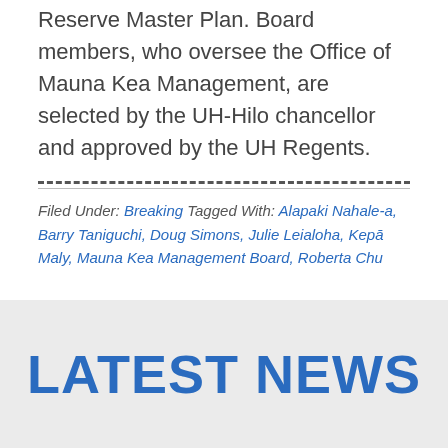Reserve Master Plan. Board members, who oversee the Office of Mauna Kea Management, are selected by the UH-Hilo chancellor and approved by the UH Regents.
Filed Under: Breaking Tagged With: Alapaki Nahale-a, Barry Taniguchi, Doug Simons, Julie Leialoha, Kepā Maly, Mauna Kea Management Board, Roberta Chu
LATEST NEWS